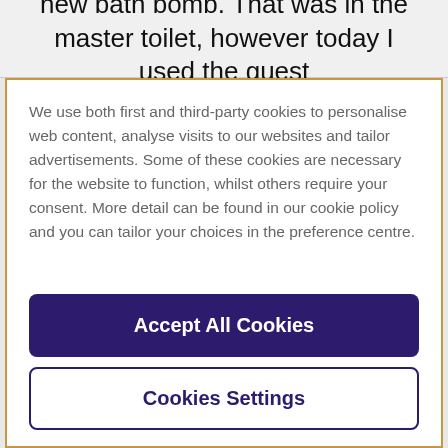new bath bomb. That was in the master toilet, however today I used the guest
We use both first and third-party cookies to personalise web content, analyse visits to our websites and tailor advertisements. Some of these cookies are necessary for the website to function, whilst others require your consent. More detail can be found in our cookie policy and you can tailor your choices in the preference centre.
Accept All Cookies
Cookies Settings